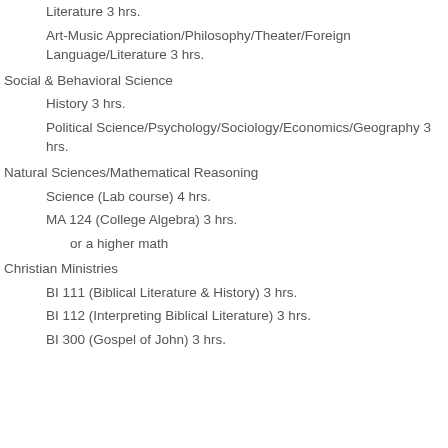Literature 3 hrs.
Art-Music Appreciation/Philosophy/Theater/Foreign Language/Literature 3 hrs.
Social & Behavioral Science
History 3 hrs.
Political Science/Psychology/Sociology/Economics/Geography 3 hrs.
Natural Sciences/Mathematical Reasoning
Science (Lab course) 4 hrs.
MA 124 (College Algebra) 3 hrs.
or a higher math
Christian Ministries
BI 111 (Biblical Literature & History) 3 hrs.
BI 112 (Interpreting Biblical Literature) 3 hrs.
BI 300 (Gospel of John) 3 hrs.